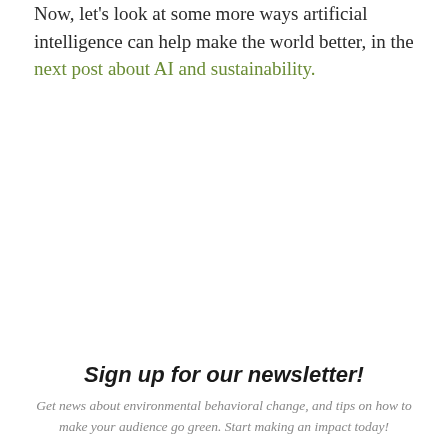Now, let's look at some more ways artificial intelligence can help make the world better, in the next post about AI and sustainability.
Sign up for our newsletter!
Get news about environmental behavioral change, and tips on how to make your audience go green. Start making an impact today!